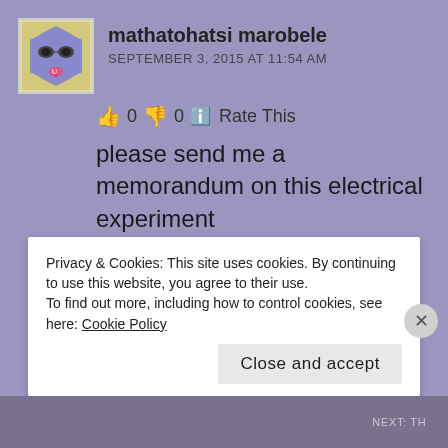[Figure (illustration): Avatar of user mathatohatsi marobele: purple/blue cartoon face with sunglasses and tongue out, on yellowish background]
mathatohatsi marobele
SEPTEMBER 3, 2015 AT 11:54 AM
👍 0 👎 0 ℹ Rate This
please send me a memorandum on this electrical experiment
★ Like
REPLY
Privacy & Cookies: This site uses cookies. By continuing to use this website, you agree to their use.
To find out more, including how to control cookies, see here: Cookie Policy
Close and accept